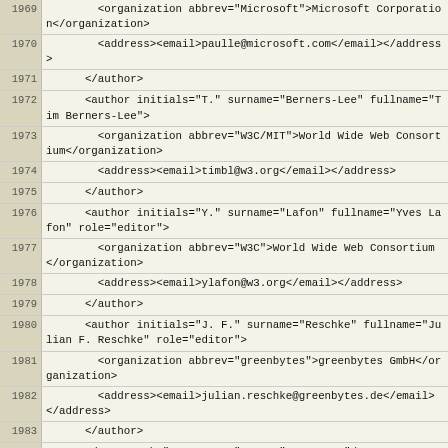[Figure (screenshot): Source code listing showing XML markup for HTTP/1.1 specification reference entries, lines 1969-1992, including author and organization tags for Microsoft, W3C/MIT, greenbytes, date elements, seriesInfo, and reference anchor tags.]